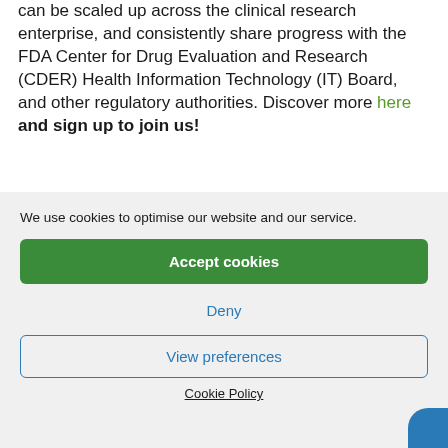can be scaled up across the clinical research enterprise, and consistently share progress with the FDA Center for Drug Evaluation and Research (CDER) Health Information Technology (IT) Board, and other regulatory authorities. Discover more here and sign up to join us!
We use cookies to optimise our website and our service.
Accept cookies
Deny
View preferences
Cookie Policy